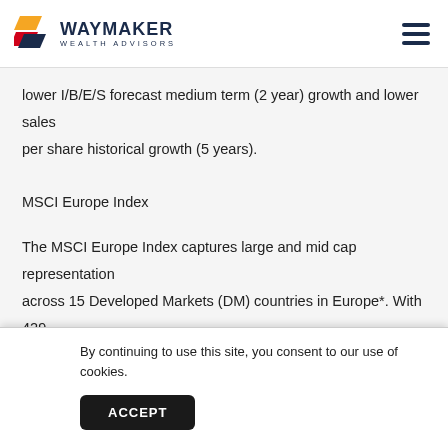WAYMAKER WEALTH ADVISORS
lower I/B/E/S forecast medium term (2 year) growth and lower sales per share historical growth (5 years).
MSCI Europe Index
The MSCI Europe Index captures large and mid cap representation across 15 Developed Markets (DM) countries in Europe*. With 429 constituents, the index covers approximately 85% of the free float-adjusted market capitalization across the European Developed M
By continuing to use this site, you consent to our use of cookies.
ht